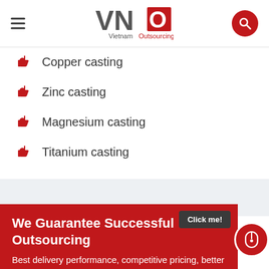[Figure (logo): VNO Vietnam Outsourcing logo with red square graphic element and gray/red text]
Copper casting
Zinc casting
Magnesium casting
Titanium casting
We Guarantee Successful Outsourcing
Best delivery performance, competitive pricing, better commercial terms, stable supplier base,